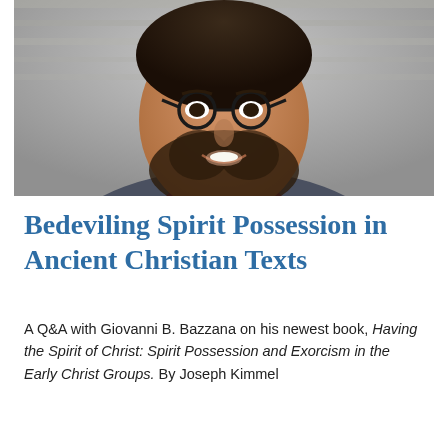[Figure (photo): Portrait photo of Giovanni B. Bazzana, a man with glasses, dark beard, wearing a maroon turtleneck and grey blazer, smiling, in front of a stone wall background.]
Bedeviling Spirit Possession in Ancient Christian Texts
A Q&A with Giovanni B. Bazzana on his newest book, Having the Spirit of Christ: Spirit Possession and Exorcism in the Early Christ Groups. By Joseph Kimmel